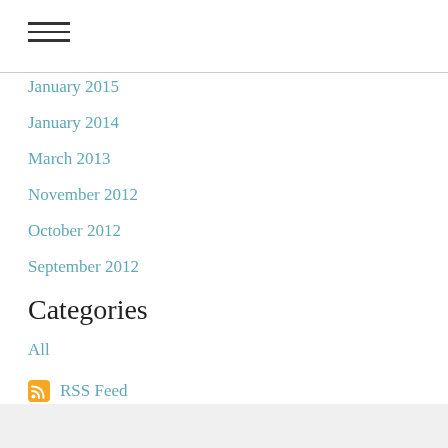[Figure (other): Hamburger menu icon — three horizontal lines]
January 2015
January 2014
March 2013
November 2012
October 2012
September 2012
Categories
All
RSS Feed